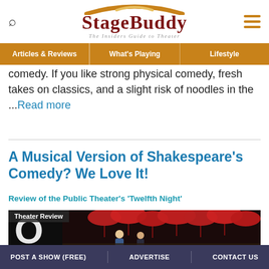StageBuddy — The Insiders Guide to Theater
comedy. If you like strong physical comedy, fresh takes on classics, and a slight risk of noodles in the ...Read more
A Musical Version of Shakespeare's Comedy? We Love It!
Review of the Public Theater's 'Twelfth Night'
[Figure (photo): Theater scene with two performers on stage surrounded by hanging red umbrellas against a dark background. Badge reading 'Theater Review' in top left.]
POST A SHOW (FREE)   ADVERTISE   CONTACT US